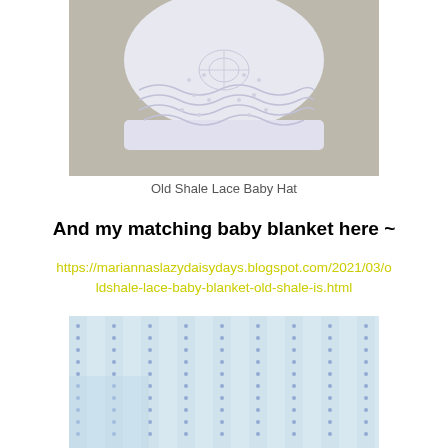[Figure (photo): White knitted Old Shale Lace Baby Hat on a beige/taupe background, showing the top of the hat with a lace pattern.]
Old Shale Lace Baby Hat
And my matching baby blanket here ~
https://mariannaslazydaisydays.blogspot.com/2021/03/oldshale-lace-baby-blanket-old-shale-is.html
[Figure (photo): Close-up photo of a knitted lace baby blanket in pale blue and white with vertical striped lace pattern.]